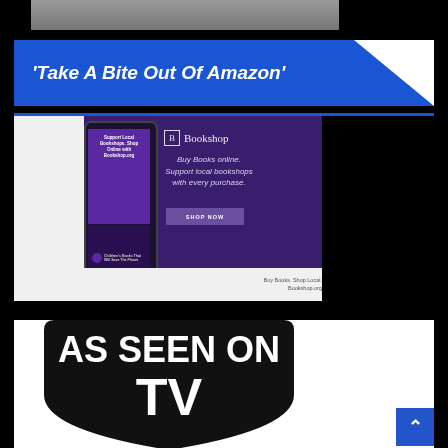[Figure (photo): Top partial photo strip showing people, cropped at the top of the page]
'Take A Bite Out Of Amazon'
[Figure (screenshot): Bookshop.org advertisement showing a purple background with a smartphone mockup displaying the Bookshop app, logo, tagline 'Buy Books online. Support local bookshops with every purchase.' and a SHOP NOW button. Bottom reads: Buy Books. Shop Local. Bookshop.org]
[Figure (logo): AS SEEN ON TV logo — large black shield-shaped badge with white text reading AS SEEN ON TV, partially visible at bottom of page]